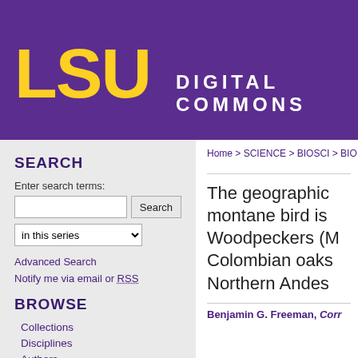[Figure (logo): LSU Digital Commons header banner with LSU logo in gold on purple background and 'DIGITAL COMMONS' text in white]
SEARCH
Enter search terms:
in this series
Advanced Search
Notify me via email or RSS
BROWSE
Collections
Disciplines
Authors
AUTHOR CORNER
Home > SCIENCE > BIOSCI > BIO
The geographic montane bird is Woodpeckers (M Colombian oaks Northern Andes
Benjamin G. Freeman, Corr